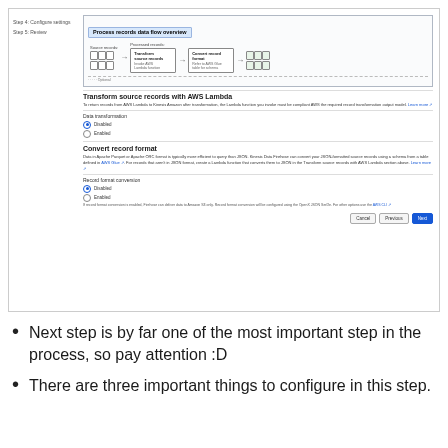[Figure (screenshot): AWS Kinesis Firehose configuration screenshot showing 'Process records data flow overview' diagram, 'Transform source records with AWS Lambda' section with Disabled/Enabled radio buttons, and 'Convert record format' section with Disabled/Enabled radio buttons, plus Cancel/Previous/Next buttons at bottom.]
Next step is by far one of the most important step in the process, so pay attention :D
There are three important things to configure in this step.